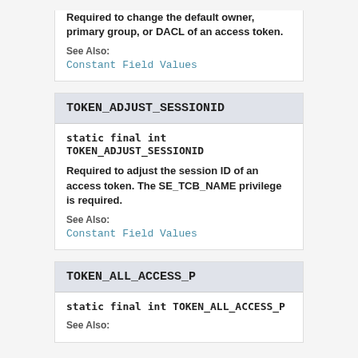Required to change the default owner, primary group, or DACL of an access token.
See Also:
Constant Field Values
TOKEN_ADJUST_SESSIONID
static final int TOKEN_ADJUST_SESSIONID
Required to adjust the session ID of an access token. The SE_TCB_NAME privilege is required.
See Also:
Constant Field Values
TOKEN_ALL_ACCESS_P
static final int TOKEN_ALL_ACCESS_P
See Also: